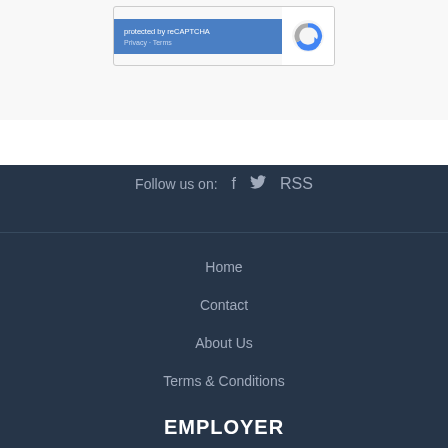[Figure (screenshot): reCAPTCHA widget with blue left panel showing 'protected by reCAPTCHA' and 'Privacy · Terms' text, and white right panel showing the reCAPTCHA logo]
Follow us on:   f   🐦   RSS
Home
Contact
About Us
Terms & Conditions
EMPLOYER